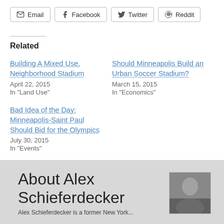Email | Facebook | Twitter | Reddit
Related
Building A Mixed Use, Neighborhood Stadium
April 22, 2015
In "Land Use"
Should Minneapolis Build an Urban Soccer Stadium?
March 15, 2015
In "Economics"
Bad Idea of the Day: Minneapolis-Saint Paul Should Bid for the Olympics
July 30, 2015
In "Events"
About Alex Schieferdecker
[Figure (photo): Headshot photo of Alex Schieferdecker]